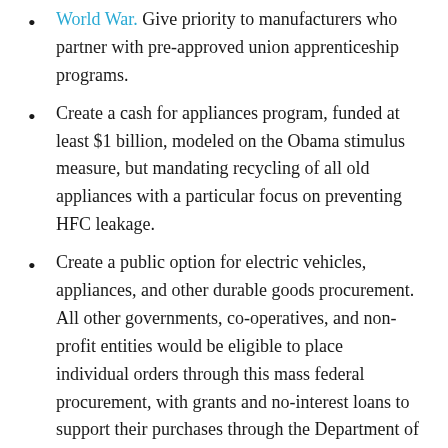World War. Give priority to manufacturers who partner with pre-approved union apprenticeship programs.
Create a cash for appliances program, funded at least $1 billion, modeled on the Obama stimulus measure, but mandating recycling of all old appliances with a particular focus on preventing HFC leakage.
Create a public option for electric vehicles, appliances, and other durable goods procurement. All other governments, co-operatives, and non-profit entities would be eligible to place individual orders through this mass federal procurement, with grants and no-interest loans to support their purchases through the Department of Commerce.